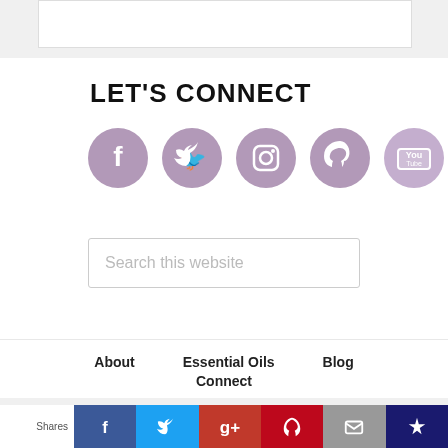LET'S CONNECT
[Figure (illustration): Five purple circular social media icons: Facebook, Twitter, Instagram, Pinterest, YouTube]
Search this website
About   Essential Oils   Blog
Connect
Shares